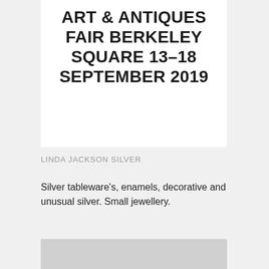ART & ANTIQUES FAIR BERKELEY SQUARE 13–18 SEPTEMBER 2019
LINDA JACKSON SILVER
Silver tableware's, enamels, decorative and unusual silver. Small jewellery.
[Figure (photo): Partial image of an exhibit or fair item, cropped at bottom of page]